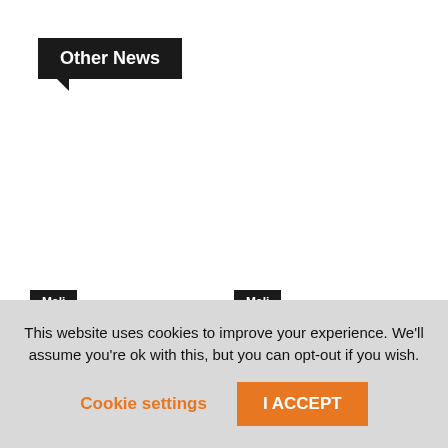Other News
Mali
Le nord de l'Algérie meurtri par des incendies dans plusieurs villes
Mali
Dr. MOUSSA COULIBALY sur la cherté de la vie: Le Mali...
This website uses cookies to improve your experience. We'll assume you're ok with this, but you can opt-out if you wish.
Cookie settings | I ACCEPT